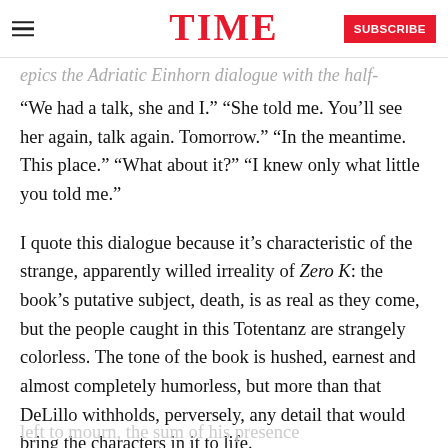TIME | SUBSCRIBE
“We had a talk, she and I.” “She told me. You’ll see her again, talk again. Tomorrow.” “In the meantime. This place.” “What about it?” “I knew only what little you told me.”
I quote this dialogue because it’s characteristic of the strange, apparently willed irreality of Zero K: the book’s putative subject, death, is as real as they come, but the people caught in this Totentanz are strangely colorless. The tone of the book is hushed, earnest and almost completely humorless, but more than that DeLillo withholds, perversely, any detail that would bring the characters in it to life.